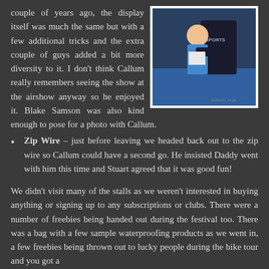[Figure (photo): Photo of a person in a blue sports jersey holding a child, with blue mat/floor visible in background]
couple of years ago, the display itself was much the same but with a few additional tricks and the extra couple of guys added a bit more diversity to it. I don't think Callum really remembers seeing the show at the airshow anyway so he enjoyed it. Blake Samson was also kind enough to pose for a photo with Callum.
Zip Wire – just before leaving we headed back out to the zip wire so Callum could have a second go. He insisted Daddy went with him this time and Stuart agreed that it was good fun!
We didn't visit many of the stalls as we weren't interested in buying anything or signing up to any subscriptions or clubs. There were a number of freebies being handed out during the festival too. There was a bag with a few sample waterproofing products as we went in, a few freebies being thrown out to lucky people during the bike tour and you got a